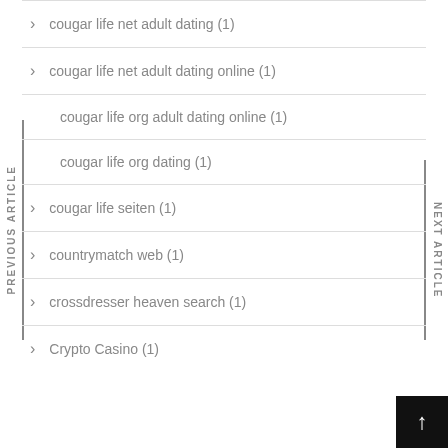cougar life net adult dating (1)
cougar life net adult dating online (1)
cougar life org adult dating online (1)
cougar life org dating (1)
cougar life seiten (1)
countrymatch web (1)
crossdresser heaven search (1)
Crypto Casino (1)